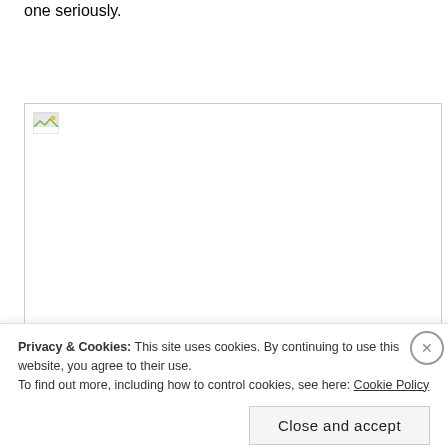one seriously.
[Figure (photo): A placeholder image box with a broken image icon in the top left corner. The box has a light gray border and is otherwise blank/white.]
Privacy & Cookies: This site uses cookies. By continuing to use this website, you agree to their use.
To find out more, including how to control cookies, see here: Cookie Policy
Close and accept